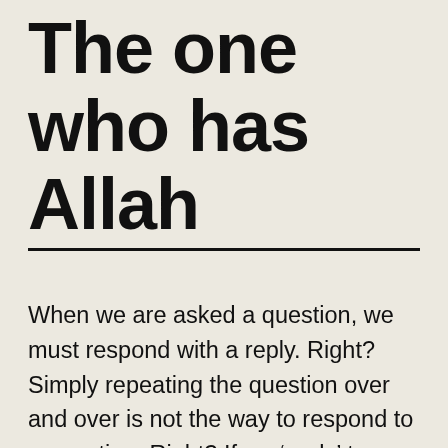The one who has Allah
When we are asked a question, we must respond with a reply. Right? Simply repeating the question over and over is not the way to respond to a question. Right? If we ‘reply’ to a question by repeating it over and over, it may